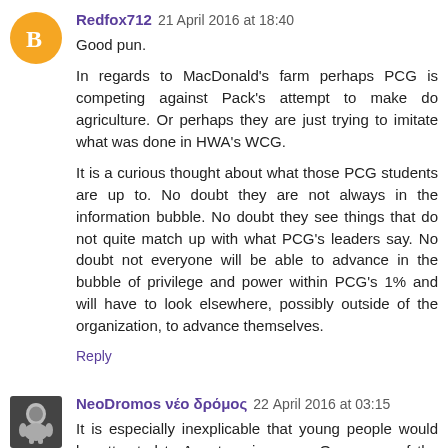Redfox712  21 April 2016 at 18:40
Good pun.
In regards to MacDonald's farm perhaps PCG is competing against Pack's attempt to make do agriculture. Or perhaps they are just trying to imitate what was done in HWA's WCG.
It is a curious thought about what those PCG students are up to. No doubt they are not always in the information bubble. No doubt they see things that do not quite match up with what PCG's leaders say. No doubt not everyone will be able to advance in the bubble of privilege and power within PCG's 1% and will have to look elsewhere, possibly outside of the organization, to advance themselves.
Reply
NeoDromos νέο δρόμος  22 April 2016 at 03:15
It is especially inexplicable that young people would be attracted to Armstrongism now. One can surf the web for